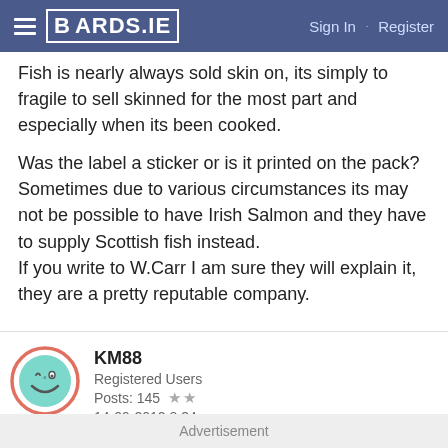BOARDS.IE   Sign In · Register
Fish is nearly always sold skin on, its simply to fragile to sell skinned for the most part and especially when its been cooked.

Was the label a sticker or is it printed on the pack? Sometimes due to various circumstances its may not be possible to have Irish Salmon and they have to supply Scottish fish instead.
If you write to W.Carr I am sure they will explain it, they are a pretty reputable company.
KM88
Registered Users
Posts: 145  ★★
14-09-2012 8:34pm
Advertisement